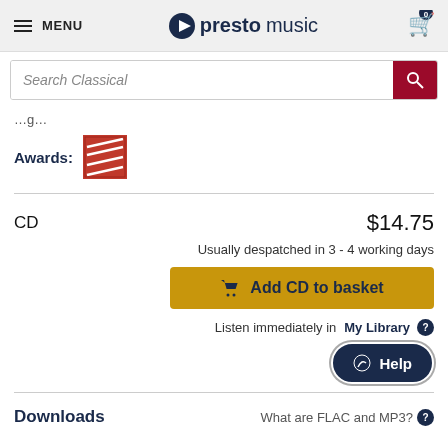MENU | prestomusic | Cart: 0
Search Classical
Awards:
CD    $14.75
Usually despatched in 3 - 4 working days
Add CD to basket
Listen immediately in My Library
Help
Downloads    What are FLAC and MP3?